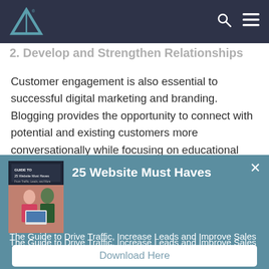Navigation bar with logo and menu icons
2. Develop and Strengthen Relationships
Customer engagement is also essential to successful digital marketing and branding. Blogging provides the opportunity to connect with potential and existing customers more conversationally while focusing on educational content
[Figure (screenshot): Popup overlay with book cover for '25 Website Must Haves']
25 Website Must Haves
The Guide to Drive Traffic, Increase Leads and Improve Sales
Download Here